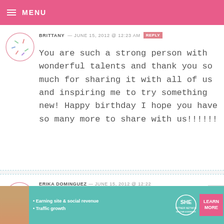MENU
BRITTANY — JUNE 15, 2012 @ 12:23 AM  REPLY
You are such a strong person with wonderful talents and thank you so much for sharing it with all of us and inspiring me to try something new! Happy birthday I hope you have so many more to share with us!!!!!!
ERIKA DOMINGUEZ — JUNE 15, 2012 @ 12:22 AM  REPLY
really?! wow time sure flies by quickly!